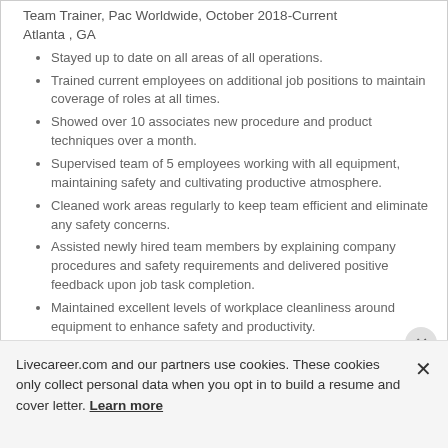Team Trainer, Pac Worldwide, October 2018-Current Atlanta , GA
Stayed up to date on all areas of all operations.
Trained current employees on additional job positions to maintain coverage of roles at all times.
Showed over 10 associates new procedure and product techniques over a month.
Supervised team of 5 employees working with all equipment, maintaining safety and cultivating productive atmosphere.
Cleaned work areas regularly to keep team efficient and eliminate any safety concerns.
Assisted newly hired team members by explaining company procedures and safety requirements and delivered positive feedback upon job task completion.
Maintained excellent levels of workplace cleanliness around equipment to enhance safety and productivity.
Cook and Trainer, Five Points Healthcare, August 2019-
Livecareer.com and our partners use cookies. These cookies only collect personal data when you opt in to build a resume and cover letter. Learn more